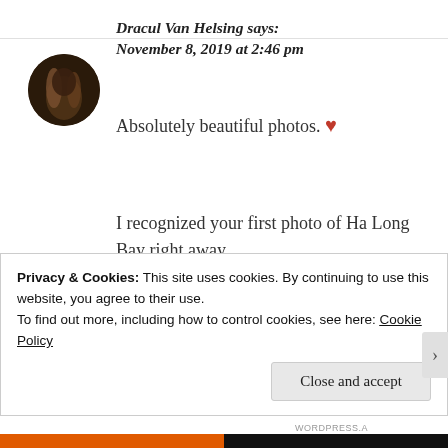Dracul Van Helsing says: November 8, 2019 at 2:46 pm
Absolutely beautiful photos. ❤
I recognized your first photo of Ha Long Bay right away.
Because when I lived in Vancouver, there used to be...
Privacy & Cookies: This site uses cookies. By continuing to use this website, you agree to their use.
To find out more, including how to control cookies, see here: Cookie Policy
Close and accept